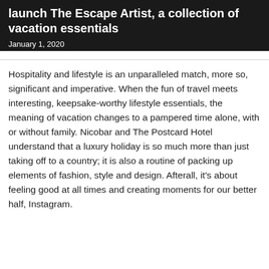launch The Escape Artist, a collection of vacation essentials
January 1, 2020
Hospitality and lifestyle is an unparalleled match, more so, significant and imperative. When the fun of travel meets interesting, keepsake-worthy lifestyle essentials, the meaning of vacation changes to a pampered time alone, with or without family. Nicobar and The Postcard Hotel understand that a luxury holiday is so much more than just taking off to a country; it is also a routine of packing up elements of fashion, style and design. Afterall, it's about feeling good at all times and creating moments for our better half, Instagram.